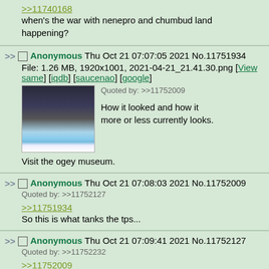>>11740168
when's the war with nenepro and chumbud land happening?
>> Anonymous Thu Oct 21 07:07:05 2021 No.11751934
File: 1.26 MB, 1920x1001, 2021-04-21_21.41.30.png [View same] [iqdb] [saucenao] [google]
Quoted by: >>11752009
How it looked and how it more or less currently looks. Visit the ogey museum.
>> Anonymous Thu Oct 21 07:08:03 2021 No.11752009
Quoted by: >>11752127
>>11751934
So this is what tanks the tps...
>> Anonymous Thu Oct 21 07:09:41 2021 No.11752127
Quoted by: >>11752232
>>11752009
Is the server laggy? I want to tour it